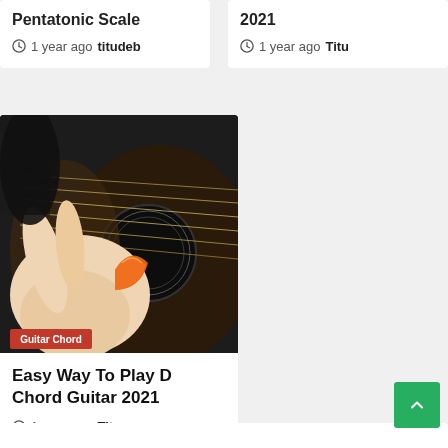Pentatonic Scale
1 year ago  titudeb
2021
1 year ago  Titu
[Figure (photo): Close-up photo of a hand holding an orange guitar pick strumming an acoustic guitar. Category badge reads 'Guitar Chord'.]
Easy Way To Play D Chord Guitar 2021
1 year ago  Titu